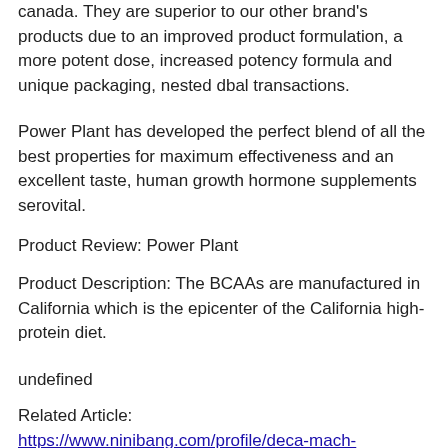canada. They are superior to our other brand's products due to an improved product formulation, a more potent dose, increased potency formula and unique packaging, nested dbal transactions.
Power Plant has developed the perfect blend of all the best properties for maximum effectiveness and an excellent taste, human growth hormone supplements serovital.
Product Review: Power Plant
Product Description: The BCAAs are manufactured in California which is the epicenter of the California high-protein diet.
undefined
Related Article:
https://www.ninibang.com/profile/deca-mach-